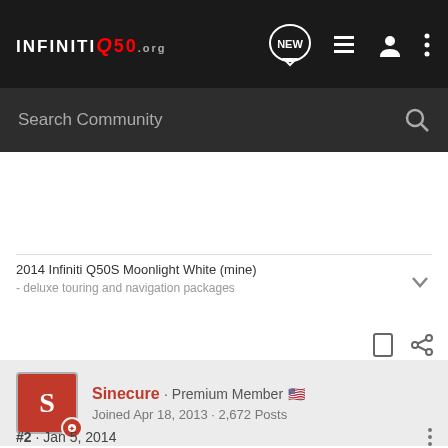INFINITI Q50 .org — navigation bar with Search Community
2014 Infiniti Q50S Moonlight White (mine)
- deluxe touring and navigation packages
Sinecure · Premium Member
Joined Apr 18, 2013 · 2,672 Posts
#2 · Jan 5, 2014
No, you shouldn't have any. As far as I know, the only dealer in HI is on Oahu. If you're based there, you can do service with